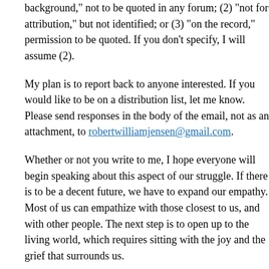background," not to be quoted in any forum; (2) "not for attribu... but not identified; or (3) "on the record," permission to be quote... specify, I will assume (2).
My plan is to report back to anyone interested. If you would lik... distribution list, let me know. Please send responses in the body... attachment, to robertwilliamjensen@gmail.com.
Whether or not you write to me, I hope everyone will begin spe... aspect of our struggle. If there is to be a decent future, we have... empathy. Most of us can empathize with those closest to us, and... people. The next step is to open up to the living world, which re... joy and the grief that surrounds us.
Editor's note: For those of you who wish to share your response... Blog, please also post your thoughts as comments to this article... at the end of this post.)
[Robert Jensen is a journalism professor at the University of T...